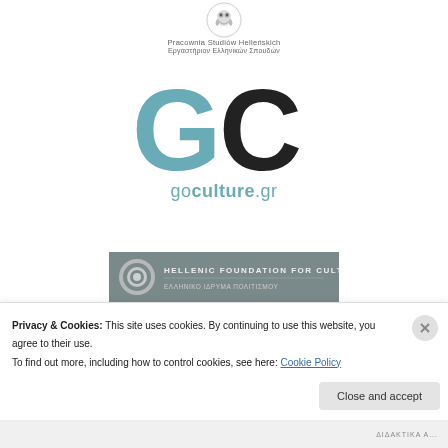[Figure (logo): Small circular logo for Pracownia Studiów Helleńskich / Εργαστήριον Ελληνικών Σπουδών]
Pracownia Studiów Helleńskich
Εργαστήριον Ελληνικών Σπουδών
[Figure (logo): GC goculture.gr logo with large teal G and black C letters]
[Figure (logo): Hellenic Foundation for Culture grey banner logo]
[Figure (logo): National Book Centre logo with book icon]
Privacy & Cookies: This site uses cookies. By continuing to use this website, you agree to their use.
To find out more, including how to control cookies, see here: Cookie Policy